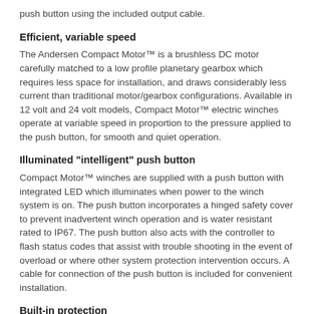push button using the included output cable.
Efficient, variable speed
The Andersen Compact Motor™ is a brushless DC motor carefully matched to a low profile planetary gearbox which requires less space for installation, and draws considerably less current than traditional motor/gearbox configurations. Available in 12 volt and 24 volt models, Compact Motor™ electric winches operate at variable speed in proportion to the pressure applied to the push button, for smooth and quiet operation.
Illuminated "intelligent" push button
Compact Motor™ winches are supplied with a push button with integrated LED which illuminates when power to the winch system is on. The push button incorporates a hinged safety cover to prevent inadvertent winch operation and is water resistant rated to IP67. The push button also acts with the controller to flash status codes that assist with trouble shooting in the event of overload or where other system protection intervention occurs. A cable for connection of the push button is included for convenient installation.
Built-in protection